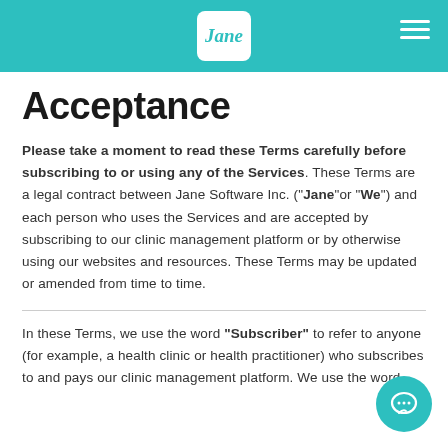Jane
Acceptance
Please take a moment to read these Terms carefully before subscribing to or using any of the Services. These Terms are a legal contract between Jane Software Inc. (“Jane”or “We”) and each person who uses the Services and are accepted by subscribing to our clinic management platform or by otherwise using our websites and resources. These Terms may be updated or amended from time to time.
In these Terms, we use the word “Subscriber” to refer to anyone (for example, a health clinic or health practitioner) who subscribes to and pays our clinic management platform. We use the word